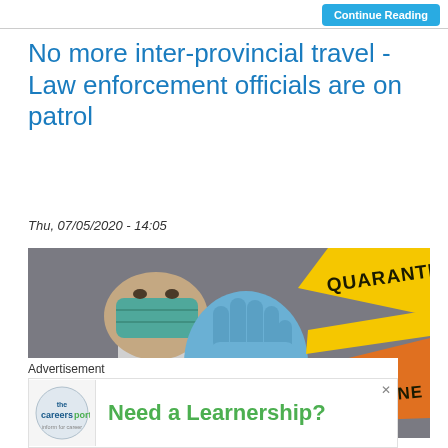Continue Reading
No more inter-provincial travel - Law enforcement officials are on patrol
Thu, 07/05/2020 - 14:05
[Figure (photo): Person in white lab coat and blue rubber gloves holding up a stop hand gesture in front of yellow and orange quarantine tape bands with the word QUARANTINE printed on them.]
Advertisement
[Figure (other): Advertisement banner for Careersportal showing the text 'Need a Learnership?' in green bold font with the Careersportal logo on the left and a close (X) button on the top right.]